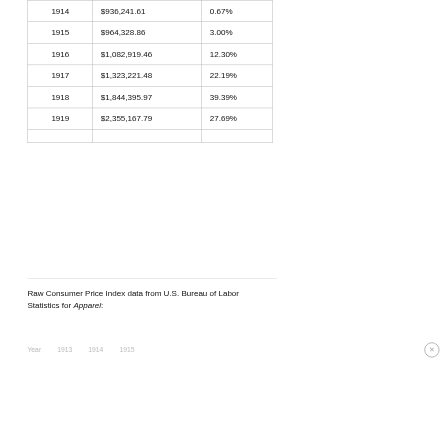| Year | Amount | Change |
| --- | --- | --- |
| 1914 | $936,241.61 | 0.67% |
| 1915 | $964,328.86 | 3.00% |
| 1916 | $1,082,919.46 | 12.30% |
| 1917 | $1,323,221.48 | 22.19% |
| 1918 | $1,844,395.97 | 39.39% |
| 1919 | $2,355,167.79 | 27.69% |
|  |  |  |
Raw Consumer Price Index data from U.S. Bureau of Labor Statistics for Apparel:
| Year | 1913 | 1914 | 1915 |
| --- | --- | --- | --- |